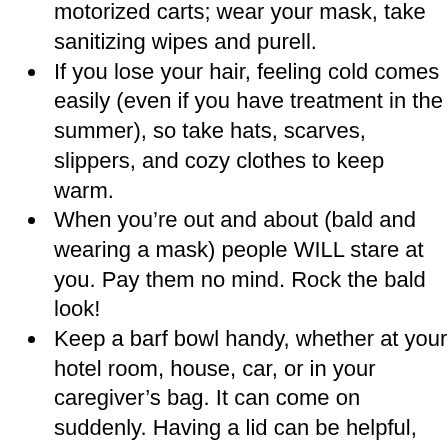there are some places like grocery stores, Target and Walmart, that offer motorized carts; wear your mask, take sanitizing wipes and purell.
If you lose your hair, feeling cold comes easily (even if you have treatment in the summer), so take hats, scarves, slippers, and cozy clothes to keep warm.
When you’re out and about (bald and wearing a mask) people WILL stare at you. Pay them no mind. Rock the bald look!
Keep a barf bowl handy, whether at your hotel room, house, car, or in your caregiver’s bag. It can come on suddenly. Having a lid can be helpful, especially if you’re out and about